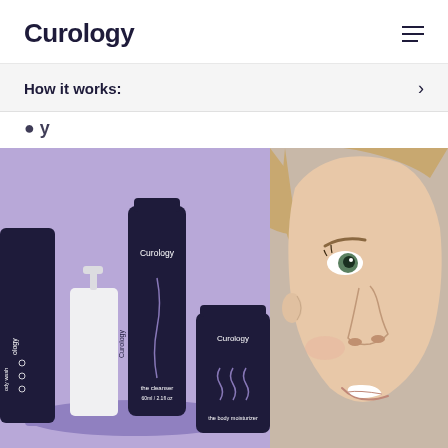Curology
How it works:
gy
[Figure (photo): Curology skincare product lineup on purple background including body wash, cleanser tube, moisturizer tube, and white pump bottle]
[Figure (photo): Close-up of smiling woman's face against beige background, showing clear skin]